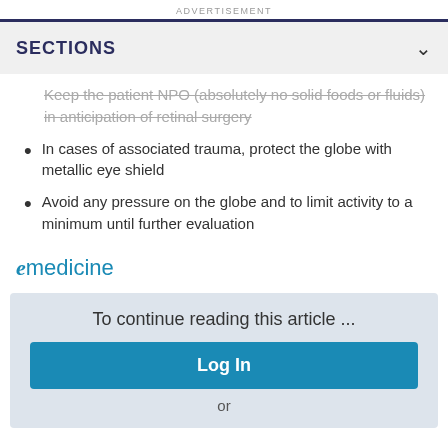ADVERTISEMENT
SECTIONS
Keep the patient NPO (absolutely no solid foods or fluids) in anticipation of retinal surgery
In cases of associated trauma, protect the globe with metallic eye shield
Avoid any pressure on the globe and to limit activity to a minimum until further evaluation
[Figure (logo): eMedicine logo in teal blue italic and regular font]
To continue reading this article ...
Log In
or